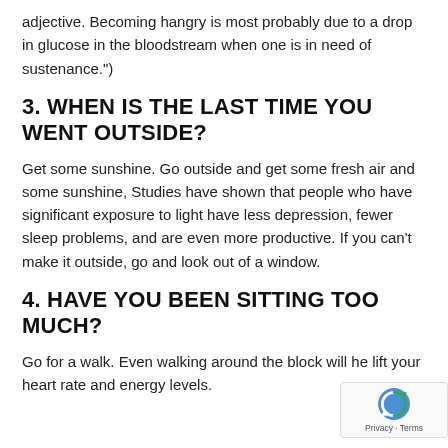adjective. Becoming hangry is most probably due to a drop in glucose in the bloodstream when one is in need of sustenance.")
3. WHEN IS THE LAST TIME YOU WENT OUTSIDE?
Get some sunshine. Go outside and get some fresh air and some sunshine, Studies have shown that people who have significant exposure to light have less depression, fewer sleep problems, and are even more productive. If you can't make it outside, go and look out of a window.
4. HAVE YOU BEEN SITTING TOO MUCH?
Go for a walk. Even walking around the block will he lift your heart rate and energy levels.